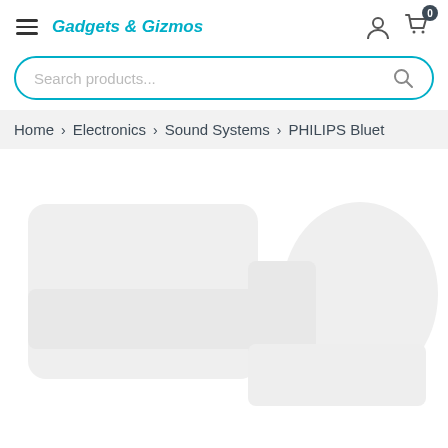Gadgets & Gizmos
Search products...
Home > Electronics > Sound Systems > PHILIPS Bluet...
[Figure (photo): Product image placeholder showing a Bluetooth speaker or sound system, rendered as a light gray silhouette on white background]